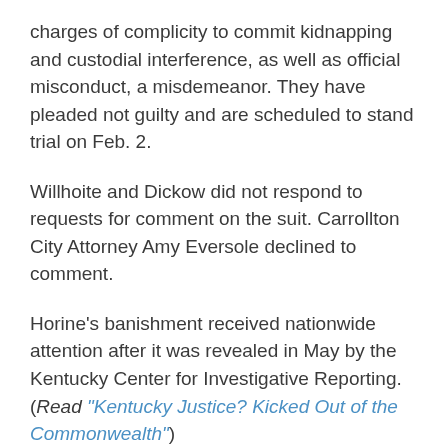charges of complicity to commit kidnapping and custodial interference, as well as official misconduct, a misdemeanor. They have pleaded not guilty and are scheduled to stand trial on Feb. 2.
Willhoite and Dickow did not respond to requests for comment on the suit. Carrollton City Attorney Amy Eversole declined to comment.
Horine's banishment received nationwide attention after it was revealed in May by the Kentucky Center for Investigative Reporting. (Read "Kentucky Justice? Kicked Out of the Commonwealth")
Dickow's actions to spring the 31-year-old Horine from jail and get him out of the state were